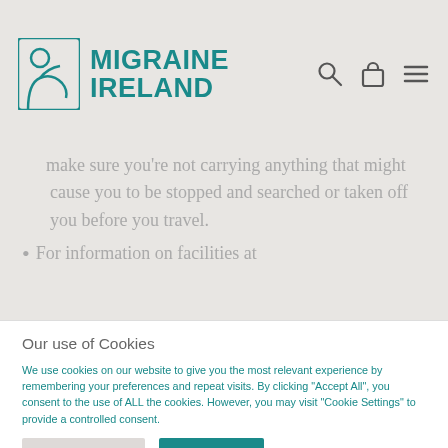[Figure (logo): Migraine Ireland logo with teal figure/R icon and bold teal text 'MIGRAINE IRELAND']
make sure you're not carrying anything that might cause you to be stopped and searched or taken off you before you travel.
For information on facilities at
Our use of Cookies
We use cookies on our website to give you the most relevant experience by remembering your preferences and repeat visits. By clicking "Accept All", you consent to the use of ALL the cookies. However, you may visit "Cookie Settings" to provide a controlled consent.